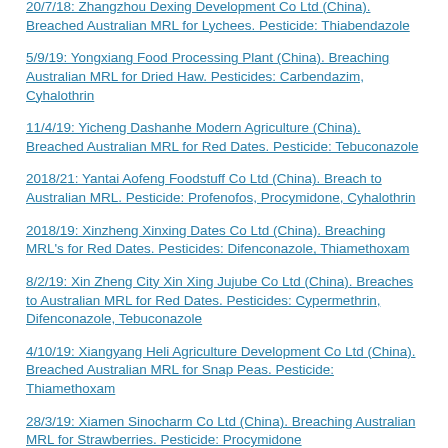20/7/18: Zhangzhou Dexing Development Co Ltd (China). Breached Australian MRL for Lychees. Pesticide: Thiabendazole
5/9/19: Yongxiang Food Processing Plant (China). Breaching Australian MRL for Dried Haw. Pesticides: Carbendazim, Cyhalothrin
11/4/19: Yicheng Dashanhe Modern Agriculture (China). Breached Australian MRL for Red Dates. Pesticide: Tebuconazole
2018/21: Yantai Aofeng Foodstuff Co Ltd (China). Breach to Australian MRL. Pesticide: Profenofos, Procymidone, Cyhalothrin
2018/19: Xinzheng Xinxing Dates Co Ltd (China). Breaching MRL's for Red Dates. Pesticides: Difenconazole, Thiamethoxam
8/2/19: Xin Zheng City Xin Xing Jujube Co Ltd (China). Breaches to Australian MRL for Red Dates. Pesticides: Cypermethrin, Difenconazole, Tebuconazole
4/10/19: Xiangyang Heli Agriculture Development Co Ltd (China). Breached Australian MRL for Snap Peas. Pesticide: Thiamethoxam
28/3/19: Xiamen Sinocharm Co Ltd (China). Breaching Australian MRL for Strawberries. Pesticide: Procymidone